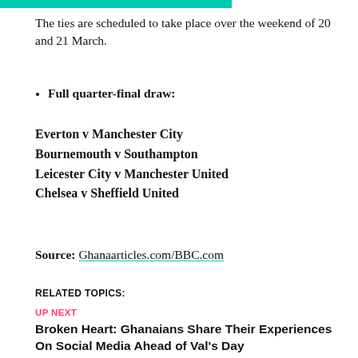[Figure (other): Teal/turquoise color bar at top of page]
The ties are scheduled to take place over the weekend of 20 and 21 March.
Full quarter-final draw:
Everton v Manchester City
Bournemouth v Southampton
Leicester City v Manchester United
Chelsea v Sheffield United
Source: Ghanaarticles.com/BBC.com
RELATED TOPICS:
UP NEXT
Broken Heart: Ghanaians Share Their Experiences On Social Media Ahead of Val's Day